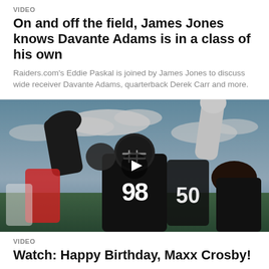VIDEO
On and off the field, James Jones knows Davante Adams is in a class of his own
Raiders.com's Eddie Paskal is joined by James Jones to discuss wide receiver Davante Adams, quarterback Derek Carr and more.
[Figure (photo): Football players in black uniforms on a field, player #98 visible in center raising fist, blue sky background. Play button overlay indicates video content.]
VIDEO
Watch: Happy Birthday, Maxx Crosby!